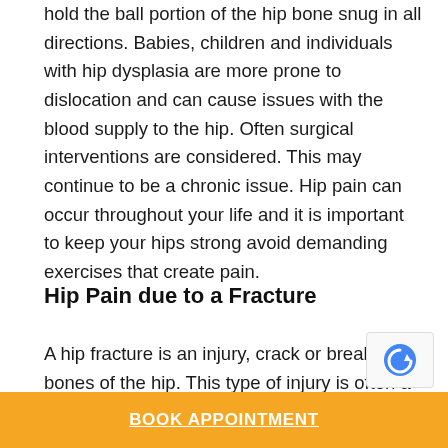hold the ball portion of the hip bone snug in all directions. Babies, children and individuals with hip dysplasia are more prone to dislocation and can cause issues with the blood supply to the hip. Often surgical interventions are considered. This may continue to be a chronic issue. Hip pain can occur throughout your life and it is important to keep your hips strong avoid demanding exercises that create pain.
Hip Pain due to a Fracture
A hip fracture is an injury, crack or break in the bones of the hip. This type of injury is often a result of some sort of trauma, such as a fall or a car accident where the knees contact the dashb...
BOOK APPOINTMENT